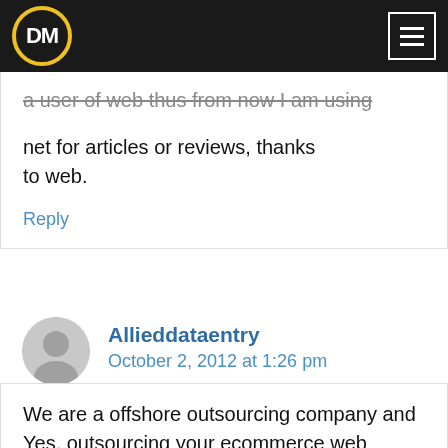DM [logo with menu icon]
a user of web thus from now I am using net for articles or reviews, thanks to web.
Reply
Allieddataentry
October 2, 2012 at 1:26 pm
We are a offshore outsourcing company and Yes, outsourcing your ecommerce web development in offshore cost for…